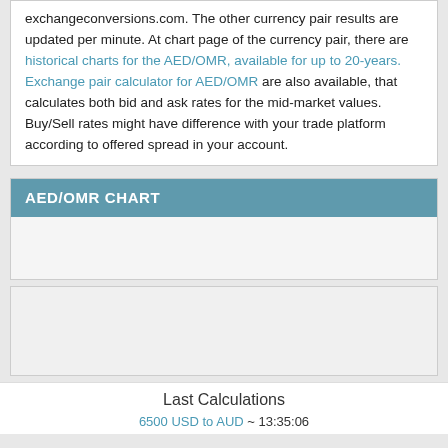exchangeconversions.com. The other currency pair results are updated per minute. At chart page of the currency pair, there are historical charts for the AED/OMR, available for up to 20-years. Exchange pair calculator for AED/OMR are also available, that calculates both bid and ask rates for the mid-market values. Buy/Sell rates might have difference with your trade platform according to offered spread in your account.
AED/OMR CHART
[Figure (other): AED/OMR chart placeholder area]
Last Calculations
6500 USD to AUD ~ 13:35:06